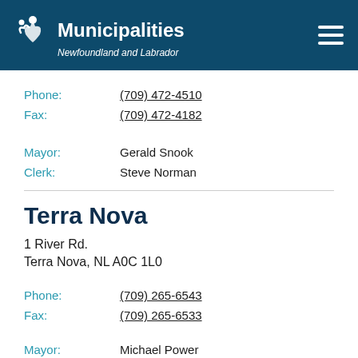Municipalities Newfoundland and Labrador
Phone: (709) 472-4510
Fax: (709) 472-4182
Mayor: Gerald Snook
Clerk: Steve Norman
Terra Nova
1 River Rd.
Terra Nova, NL A0C 1L0
Phone: (709) 265-6543
Fax: (709) 265-6533
Mayor: Michael Power